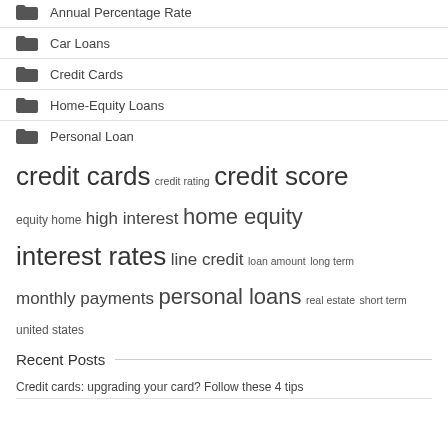Annual Percentage Rate
Car Loans
Credit Cards
Home-Equity Loans
Personal Loan
[Figure (infographic): Tag cloud with finance-related terms in varying sizes: credit cards (largest), credit score (large), home equity (large), interest rates (large), personal loans (large), high interest (medium), monthly payments (medium), line credit (medium), credit rating (small), equity home (small), loan amount (small), long term (small), real estate (small), short term (small), united states (small)]
Recent Posts
Credit cards: upgrading your card? Follow these 4 tips